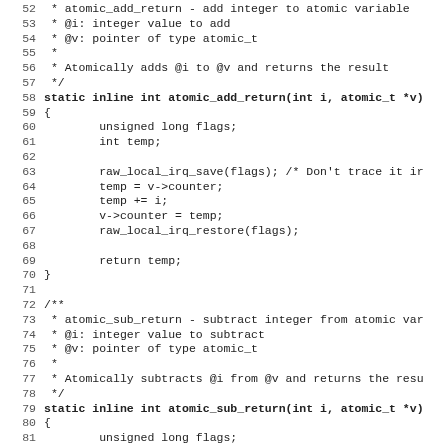Source code listing showing atomic_add_return and atomic_sub_return functions in C, lines 52–83